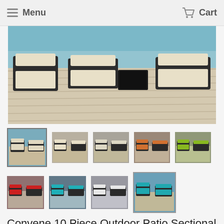Menu   Cart
[Figure (photo): Product photo of Convene 10 Piece Outdoor Patio Sectional Set showing dark wicker furniture with beige cushions on a wood deck near a pool]
[Figure (photo): Thumbnail 1: same set near pool with colorful cushions (selected)]
[Figure (photo): Thumbnail 2: dark wicker set with light/tan cushions]
[Figure (photo): Thumbnail 3: dark wicker set with light cushions]
[Figure (photo): Thumbnail 4: dark wicker set with orange cushions]
[Figure (photo): Thumbnail 5: dark wicker set with yellow-green cushions]
[Figure (photo): Thumbnail 6: dark wicker set with red cushions]
[Figure (photo): Thumbnail 7: dark wicker set with turquoise cushions]
[Figure (photo): Thumbnail 8: dark wicker set with white cushions]
[Figure (photo): Thumbnail 9 (large): set near pool with blue/teal cushions]
Convene 10 Piece Outdoor Patio Sectional Set
Modway